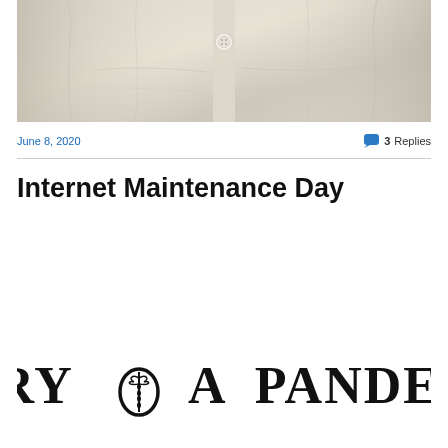[Figure (photo): Close-up photo of a white/cream linen or cotton shirt showing button placket and fabric texture]
June 8, 2020
3 Replies
Internet Maintenance Day
[Figure (logo): DIARY OF A PANDEMIC logo/title in large serif font with a caduceus symbol replacing the letter O in OF]